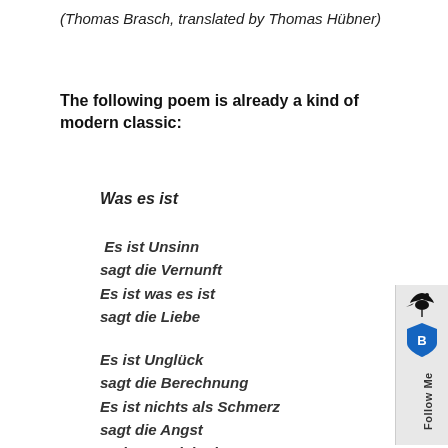(Thomas Brasch, translated by Thomas Hübner)
The following poem is already a kind of modern classic:
Was es ist
Es ist Unsinn
sagt die Vernunft
Es ist was es ist
sagt die Liebe
Es ist Unglück
sagt die Berechnung
Es ist nichts als Schmerz
sagt die Angst
Es ist aussichtslos
[Figure (logo): Twitter/social follow me sidebar widget with bird icon and shield badge]